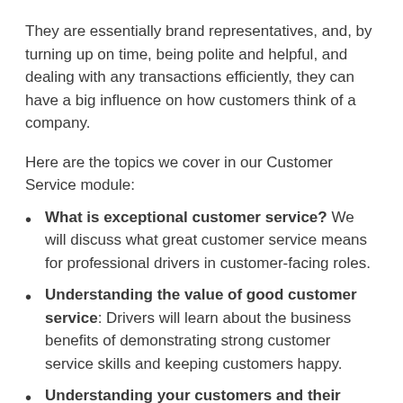They are essentially brand representatives, and, by turning up on time, being polite and helpful, and dealing with any transactions efficiently, they can have a big influence on how customers think of a company.
Here are the topics we cover in our Customer Service module:
What is exceptional customer service? We will discuss what great customer service means for professional drivers in customer-facing roles.
Understanding the value of good customer service: Drivers will learn about the business benefits of demonstrating strong customer service skills and keeping customers happy.
Understanding your customers and their expectations: Most drivers will deal with a variety of customers throughout their career, so being able to tailor their approach depending on a